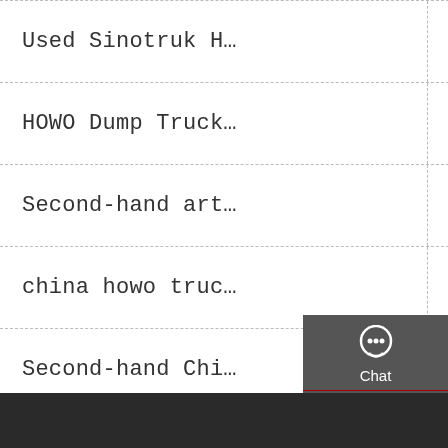Used Sinotruk H…
SINTRUK HOWO TI…
HOWO Dump Truck…
60t U Shape Hea…
Second-hand art…
PEN00041-05 HD3…
china howo truc…
Komatsu Hd785…
Second-hand Chi…
Dump Truck Li…
[Figure (infographic): Sidebar widget with Chat (headset icon), Email (envelope icon), Contact (speech bubble icon), and Top (up arrow icon) buttons on a dark grey background.]